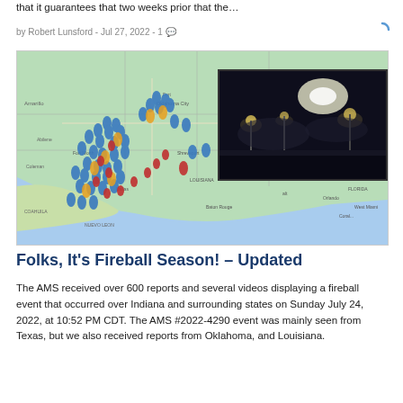that it guarantees that two weeks prior that the…
by Robert Lunsford - Jul 27, 2022 - 1
[Figure (map): Map showing fireball sighting reports across the south-central United States (Texas, Oklahoma, Louisiana, Arkansas region) with clustered blue/yellow/red marker icons, and an inset nighttime camera image showing a fireball or storm event.]
Folks, It's Fireball Season! – Updated
The AMS received over 600 reports and several videos displaying a fireball event that occurred over Indiana and surrounding states on Sunday July 24, 2022, at 10:52 PM CDT. The AMS #2022-4290 event was mainly seen from Texas, but we also received reports from Oklahoma, and Louisiana.